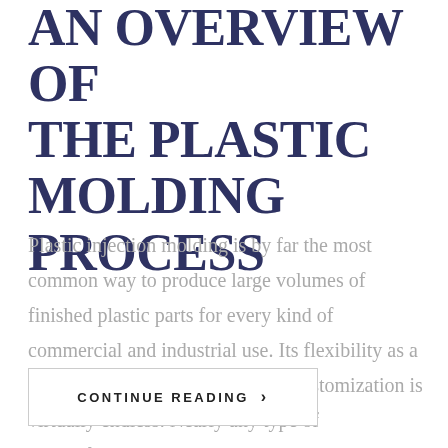AN OVERVIEW OF THE PLASTIC MOLDING PROCESS
Plastic injection molding is by far the most common way to produce large volumes of finished plastic parts for every kind of commercial and industrial use. Its flexibility as a material is unmatched; therefore customization is virtually endless. Nearly any type of thermoforming resin can
CONTINUE READING ›